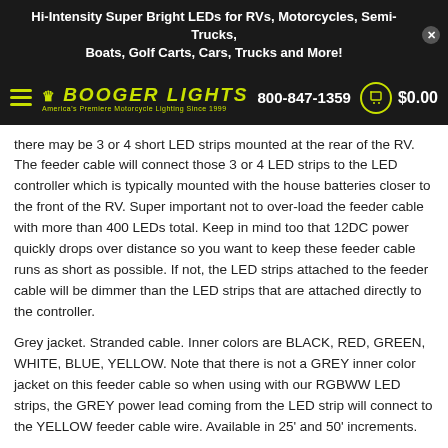Hi-Intensity Super Bright LEDs for RVs, Motorcycles, Semi-Trucks, Boats, Golf Carts, Cars, Trucks and More!
[Figure (logo): Booger Lights logo with crown icon on dark background, hamburger menu, phone number 800-847-1359, cart icon and $0.00]
there may be 3 or 4 short LED strips mounted at the rear of the RV. The feeder cable will connect those 3 or 4 LED strips to the LED controller which is typically mounted with the house batteries closer to the front of the RV. Super important not to over-load the feeder cable with more than 400 LEDs total. Keep in mind too that 12DC power quickly drops over distance so you want to keep these feeder cable runs as short as possible. If not, the LED strips attached to the feeder cable will be dimmer than the LED strips that are attached directly to the controller.
Grey jacket. Stranded cable. Inner colors are BLACK, RED, GREEN, WHITE, BLUE, YELLOW. Note that there is not a GREY inner color jacket on this feeder cable so when using with our RGBWW LED strips, the GREY power lead coming from the LED strip will connect to the YELLOW feeder cable wire. Available in 25' and 50' increments.
FREQUE
[Figure (screenshot): Blue chat button: Questions? Text Us]